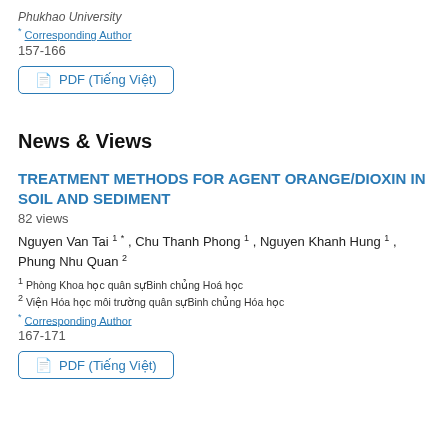Phukhao University
* Corresponding Author
157-166
PDF (Tiếng Việt)
News & Views
TREATMENT METHODS FOR AGENT ORANGE/DIOXIN IN SOIL AND SEDIMENT
82 views
Nguyen Van Tai 1 * , Chu Thanh Phong 1 , Nguyen Khanh Hung 1 , Phung Nhu Quan 2
1 Phòng Khoa học quân sựBinh chủng Hoá học
2 Viện Hóa học môi trường quân sựBinh chủng Hóa học
* Corresponding Author
167-171
PDF (Tiếng Việt)